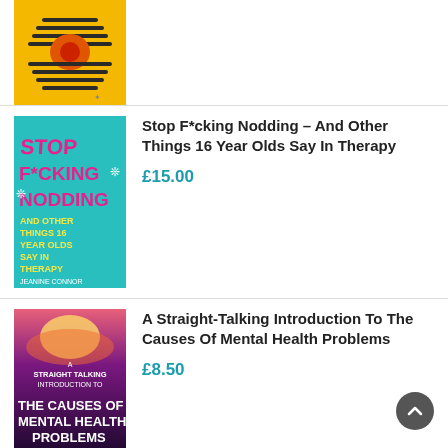[Figure (photo): Book cover: yellow background with a stylized eye graphic made of horizontal lines, orange/red center, with a small logo at bottom. Title not fully visible.]
[Figure (photo): Book cover of 'Stop F*cking Nodding – And Other Things 16 Year Olds Say In Therapy' by Jeanine Connor. Teal background with large magenta and yellow text.]
Stop F*cking Nodding – And Other Things 16 Year Olds Say In Therapy
£15.00
[Figure (photo): Book cover of 'A Straight-Talking Introduction To The Causes Of Mental Health Problems' by John Read and Pete Sanders. Dark purple/pink gradient background with white text.]
A Straight-Talking Introduction To The Causes Of Mental Health Problems
£8.50